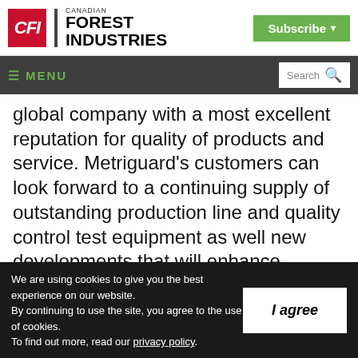Canadian Forest Industries | CFI — Subscribe
≡ MENU | Search
global company with a most excellent reputation for quality of products and service. Metriguard's customers can look forward to a continuing supply of outstanding production line and quality control test equipment as well new developments that will enhance
We are using cookies to give you the best experience on our website.
By continuing to use the site, you agree to the use of cookies.
To find out more, read our privacy policy.